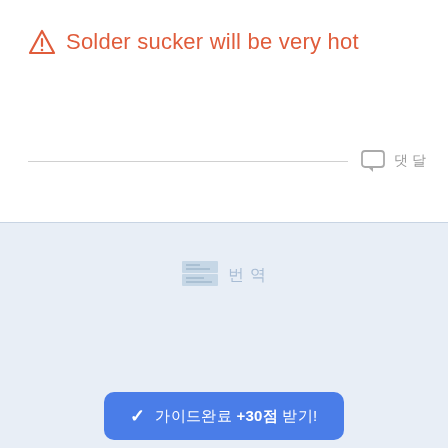⚠ Solder sucker will be very hot
[Figure (illustration): Comment/chat icon with label next to a horizontal divider line]
[Figure (illustration): Flag icon with Korean label indicating a translation or flag section]
To reassemble your device, follow these instructions in reverse order.
✓ 가이드완료 +30점 받기!